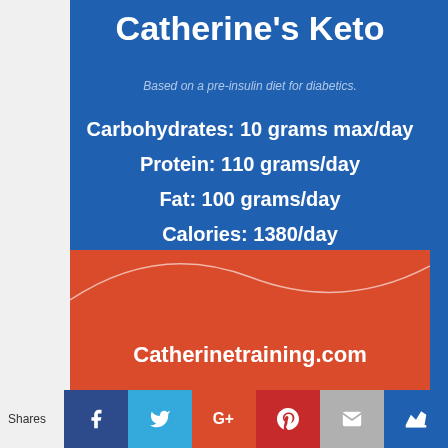Catherine's Keto
Based on a pre-insulin diet for diabetics.
Carbohydrates: 10 grams max/day
Protein: 110 grams/day
Fat: 100 grams/day
Calories: 1380/day
Catherinetraining.com
Shares